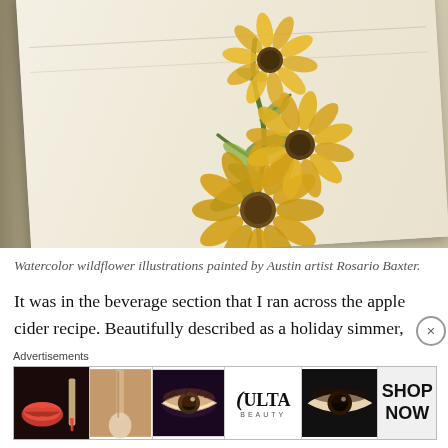[Figure (illustration): Photograph of an open sketchbook showing watercolor wildflower illustrations — three yellow sunflower-like blooms with green stems and leaves painted in watercolor, viewed at a slight angle on a white surface.]
Watercolor wildflower illustrations painted by Austin artist Rosario Baxter.
It was in the beverage section that I ran across the apple cider recipe. Beautifully described as a holiday simmer,
[Figure (screenshot): ULTA Beauty advertisement banner showing makeup imagery: red lips with brush, eye makeup close-ups, ULTA Beauty logo, and SHOP NOW call to action.]